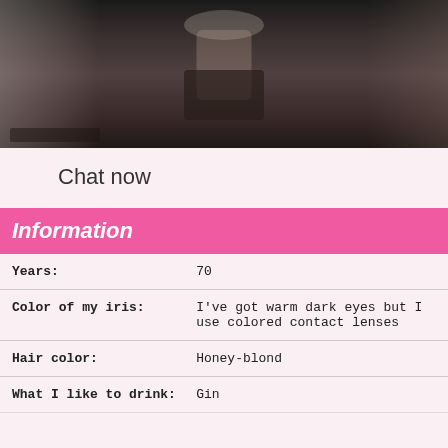[Figure (photo): Cropped photo of a person's torso, wearing a black and white patterned top with midriff visible, standing indoors near a window]
Chat now
Information
| Years: | 70 |
| Color of my iris: | I've got warm dark eyes but I use colored contact lenses |
| Hair color: | Honey-blond |
| What I like to drink: | Gin |